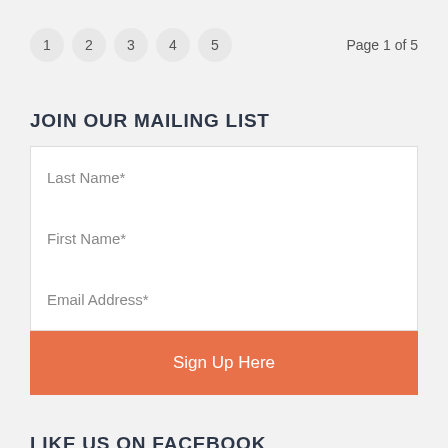1  2  3  4  5    Page 1 of 5
JOIN OUR MAILING LIST
Last Name*
First Name*
Email Address*
Sign Up Here
LIKE US ON FACEBOOK